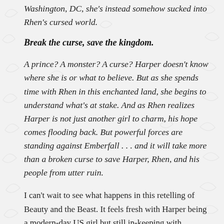Washington, DC, she's instead somehow sucked into Rhen's cursed world.
Break the curse, save the kingdom.
A prince? A monster? A curse? Harper doesn't know where she is or what to believe. But as she spends time with Rhen in this enchanted land, she begins to understand what's at stake. And as Rhen realizes Harper is not just another girl to charm, his hope comes flooding back. But powerful forces are standing against Emberfall . . . and it will take more than a broken curse to save Harper, Rhen, and his people from utter ruin.
I can't wait to see what happens in this retelling of Beauty and the Beast. It feels fresh with Harper being a modern-day US girl but still in-keeping with